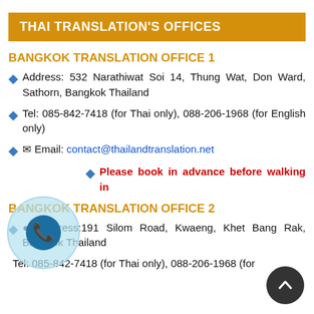THAI TRANSLATION'S OFFICES
BANGKOK TRANSLATION OFFICE 1
Address: 532 Narathiwat Soi 14, Thung Wat, Don Ward, Sathorn, Bangkok Thailand
Tel: 085-842-7418 (for Thai only), 088-206-1968 (for English only)
Email: contact@thailandtranslation.net
Please book in advance before walking in
BANGKOK TRANSLATION OFFICE 2
Address:191 Silom Road, Kwaeng, Khet Bang Rak, Bangkok Thailand
Tel: 085-842-7418 (for Thai only), 088-206-1968 (for